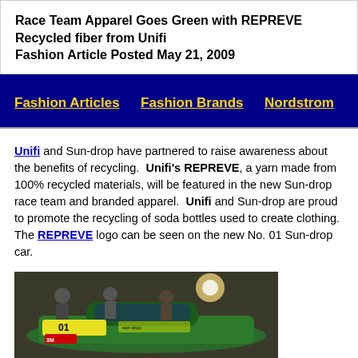Race Team Apparel Goes Green with REPREVE Recycled fiber from Unifi
Fashion Article Posted May 21, 2009
Fashion Articles   Fashion Brands   Nordstrom
Unifi and Sun-drop have partnered to raise awareness about the benefits of recycling.  Unifi's REPREVE, a yarn made from 100% recycled materials, will be featured in the new Sun-drop race team and branded apparel.  Unifi and Sun-drop are proud to promote the recycling of soda bottles used to create clothing.  The REPREVE logo can be seen on the new No. 01 Sun-drop car.
[Figure (photo): Photo of Sun-drop green race car No. 01 with team members in pit area, car has green and yellow branding with 3M sponsor logos]